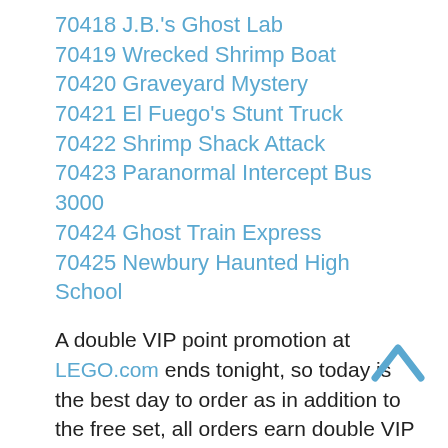70418 J.B.'s Ghost Lab
70419 Wrecked Shrimp Boat
70420 Graveyard Mystery
70421 El Fuego's Stunt Truck
70422 Shrimp Shack Attack
70423 Paranormal Intercept Bus 3000
70424 Ghost Train Express
70425 Newbury Haunted High School
A double VIP point promotion at LEGO.com ends tonight, so today is the best day to order as in addition to the free set, all orders earn double VIP points. The recently released 75252 Imperial Star Destroyer works especially well with this deal, currently earning around £65 value in VIP points. 42110 Land Rover Defender and 10267 Gingerbread House are the other new exclusives that also benefit from the equivalent of 10% LEGO cashback